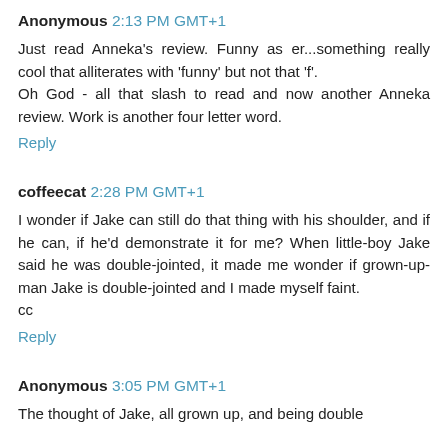Anonymous 2:13 PM GMT+1
Just read Anneka's review. Funny as er...something really cool that alliterates with 'funny' but not that 'f'.
Oh God - all that slash to read and now another Anneka review. Work is another four letter word.
Reply
coffeecat 2:28 PM GMT+1
I wonder if Jake can still do that thing with his shoulder, and if he can, if he'd demonstrate it for me? When little-boy Jake said he was double-jointed, it made me wonder if grown-up-man Jake is double-jointed and I made myself faint.
cc
Reply
Anonymous 3:05 PM GMT+1
The thought of Jake, all grown up, and being double